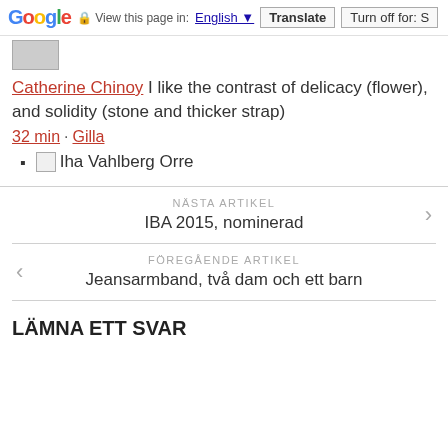Google  View this page in: English  Translate  Turn off for: S
Catherine Chinoy I like the contrast of delicacy (flower), and solidity (stone and thicker strap)
32 min · Gilla
Iha Vahlberg Orre
NÄSTA ARTIKEL
IBA 2015, nominerad
FÖREGÅENDE ARTIKEL
Jeansarmband, två dam och ett barn
LÄMNA ETT SVAR